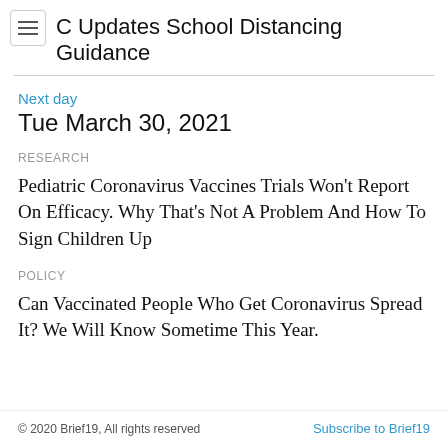C Updates School Distancing Guidance
Next day
Tue March 30, 2021
RESEARCH
Pediatric Coronavirus Vaccines Trials Won't Report On Efficacy. Why That's Not A Problem And How To Sign Children Up
POLICY
Can Vaccinated People Who Get Coronavirus Spread It? We Will Know Sometime This Year.
© 2020 Brief19, All rights reserved    Subscribe to Brief19